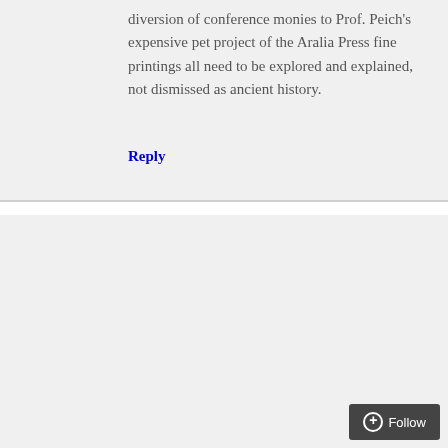diversion of conference monies to Prof. Peich's expensive pet project of the Aralia Press fine printings all need to be explored and explained, not dismissed as ancient history.
Reply
Anna_Evans
February 5, 2017 at 5:09 pm
To Ian's point (and it also addresses what Mike Cantor said on the ‘Sphere) there is no satisfactory outcome as long as WCU is still publicly blaming Kim for Mike Peich's misdeeds, and people like Mike Cantor are